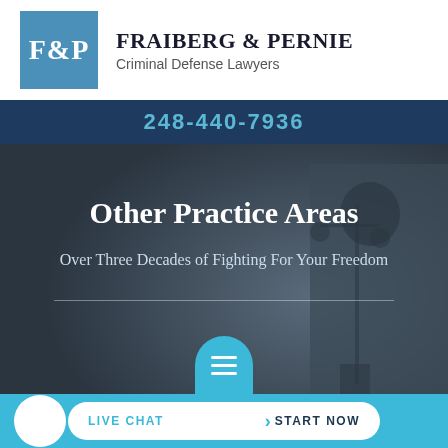[Figure (logo): F&P logo box in blue with firm name Fraiberg & Pernie Criminal Defense Lawyers]
FRAIBERG & PERNIE
Criminal Defense Lawyers
248-440-7936
[Figure (photo): Lady Justice statue background image with dark blue overlay]
Other Practice Areas
Over Three Decades of Fighting For Your Freedom
CONTACT NOW!
LIVE CHAT  START NOW